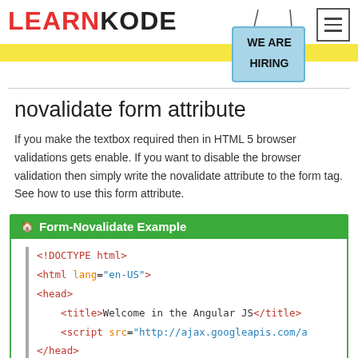LEARNKODE
[Figure (illustration): We Are Hiring sign hanging from a cord, hand-drawn style with black text on light blue background]
novalidate form attribute
If you make the textbox required then in HTML 5 browser validations gets enable. If you want to disable the browser validation then simply write the novalidate attribute to the form tag. See how to use this form attribute.
Form-Novalidate Example
<!DOCTYPE html>
<html lang="en-US">
<head>
    <title>Welcome in the Angular JS</title>
    <script src="http://ajax.googleapis.com/a
</head>